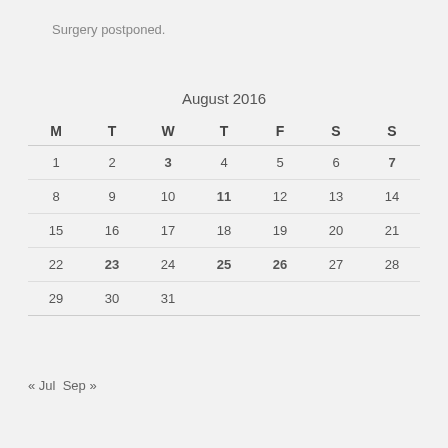Surgery postponed.
| M | T | W | T | F | S | S |
| --- | --- | --- | --- | --- | --- | --- |
| 1 | 2 | 3 | 4 | 5 | 6 | 7 |
| 8 | 9 | 10 | 11 | 12 | 13 | 14 |
| 15 | 16 | 17 | 18 | 19 | 20 | 21 |
| 22 | 23 | 24 | 25 | 26 | 27 | 28 |
| 29 | 30 | 31 |  |  |  |  |
« Jul  Sep »